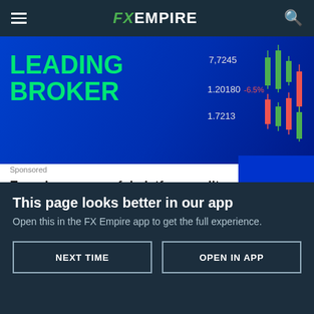FX EMPIRE
[Figure (screenshot): LEADING BROKER banner advertisement with trading chart graphics on dark blue background, showing text: LEADING BROKER with price numbers 7,7245, 1.20180, -650%, 1.7213]
Sponsored
Experience powerful platforms, elite execution & 21 years' expertise in FX
Latest Articles See All
[Figure (photo): Article thumbnail image, blurred background photo]
This page looks better in our app
Open this in the FX Empire app to get the full experience.
NEXT TIME
OPEN IN APP